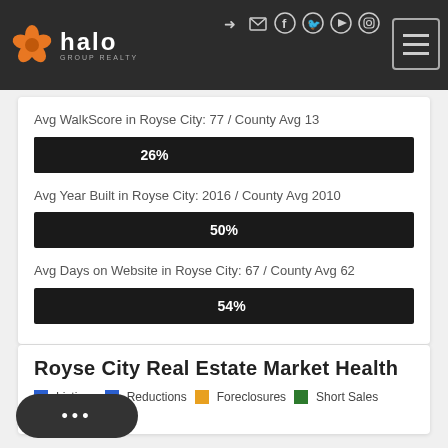Halo Group Realty
Avg WalkScore in Royse City: 77 / County Avg 13
[Figure (infographic): Horizontal progress bar showing 26%]
Avg Year Built in Royse City: 2016 / County Avg 2010
[Figure (infographic): Horizontal progress bar showing 50%]
Avg Days on Website in Royse City: 67 / County Avg 62
[Figure (infographic): Horizontal progress bar showing 54%]
Royse City Real Estate Market Health
Listings  Reductions  Foreclosures  Short Sales
200